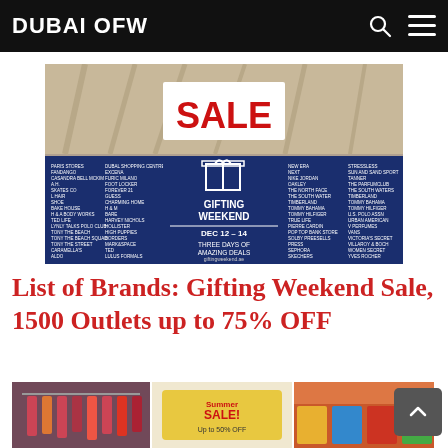DUBAI OFW
[Figure (photo): Gifting Weekend Sale promotional banner showing 'SALE' in red text over a shopping mall background, with a blue poster listing brand names and text: GIFTING WEEKEND, DEC 12-14, THREE DAYS OF AMAZING DEALS, ENJOY SHOPPING. LOVE GIFTING., giftingweekend.ae]
List of Brands: Gifting Weekend Sale, 1500 Outlets up to 75% OFF
[Figure (photo): Bottom strip showing three partial retail sale photos: clothing racks, a Summer Sale banner, and colorful merchandise display]